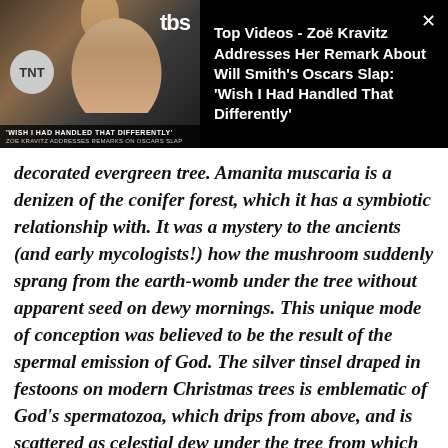[Figure (screenshot): Video player banner with thumbnail of Zoë Kravitz at an awards event on left, and video title text on black background on right. Thumbnail shows TNT and TBS logos, People magazine logo, and caption 'WISH I HAD HANDLED THAT DIFFERENTLY / ZOE KRAVITZ ADDRESSES REMARKS ON OSCARS SLAP'. A close (x) button appears top right.]
decorated evergreen tree. Amanita muscaria is a denizen of the conifer forest, which it has a symbiotic relationship with. It was a mystery to the ancients (and early mycologists!) how the mushroom suddenly sprang from the earth-womb under the tree without apparent seed on dewy mornings. This unique mode of conception was believed to be the result of the spermal emission of God. The silver tinsel draped in festoons on modern Christmas trees is emblematic of God's spermatozoa, which drips from above, and is scattered as celestial dew under the tree from which the sacred fungi spontaneously appears. The star or angel that crowns the Christmas tree represents the luminaries of